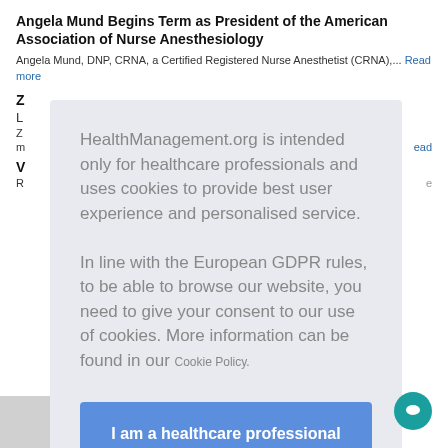Angela Mund Begins Term as President of the American Association of Nurse Anesthesiology
Angela Mund, DNP, CRNA, a Certified Registered Nurse Anesthetist (CRNA),... Read more
Z
L
Z
m
V
R
HealthManagement.org is intended only for healthcare professionals and uses cookies to provide best user experience and personalised service.

In line with the European GDPR rules, to be able to browse our website, you need to give your consent to our use of cookies. More information can be found in our Cookie Policy.
I am a healthcare professional and consent to the use of cookies
[Figure (other): Chat/support icon button in teal circle at bottom right]